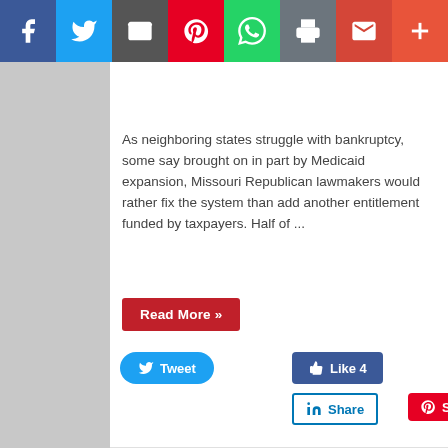[Figure (screenshot): Social media sharing toolbar with icons for Facebook, Twitter, Email, Pinterest, WhatsApp, Print, Gmail, and More]
As neighboring states struggle with bankruptcy, some say brought on in part by Medicaid expansion, Missouri Republican lawmakers would rather fix the system than add another entitlement funded by taxpayers. Half of ...
[Figure (screenshot): Read More button (red) and social sharing buttons: Tweet (blue), Like 4 (dark blue), Share on LinkedIn, Save on Pinterest]